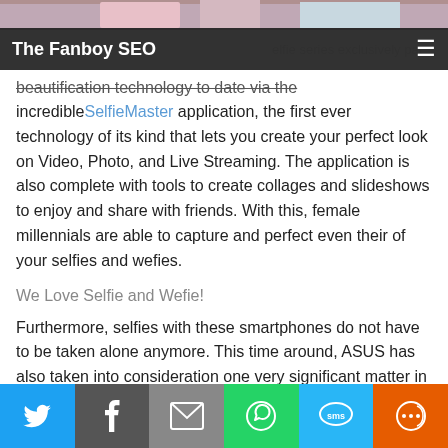[Figure (photo): Cropped photo of people, partially visible at top of page]
The Fanboy SEO
elfie series exclusively packs the best beautification technology to date via the incredible SelfieMaster application, the first ever technology of its kind that lets you create your perfect look on Video, Photo, and Live Streaming. The application is also complete with tools to create collages and slideshows to enjoy and share with friends. With this, female millennials are able to capture and perfect even their of your selfies and wefies.
We Love Selfie and Wefie!
Furthermore, selfies with these smartphones do not have to be taken alone anymore. This time around, ASUS has also taken into consideration one very significant matter in everyone's life: relationships. ASUS makes it quite known to everyone that relationships are significant to their design philosophy this very
[Figure (infographic): Social sharing bar at bottom with Twitter, Facebook, Email, WhatsApp, SMS, and More buttons]